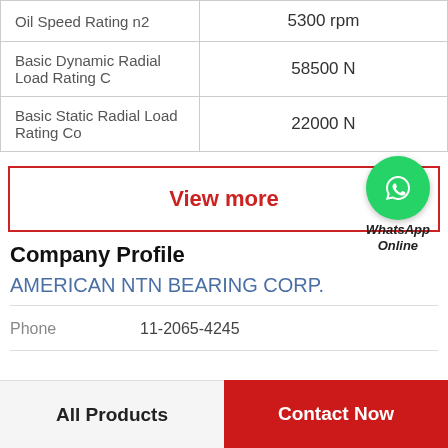| Property | Value |
| --- | --- |
| Oil Speed Rating n2 | 5300 rpm |
| Basic Dynamic Radial Load Rating C | 58500 N |
| Basic Static Radial Load Rating Co | 22000 N |
[Figure (other): View more button with WhatsApp Online badge (green circle with phone icon)]
Company Profile
AMERICAN NTN BEARING CORP.
Phone  11-2065-4245
All Products
Contact Now